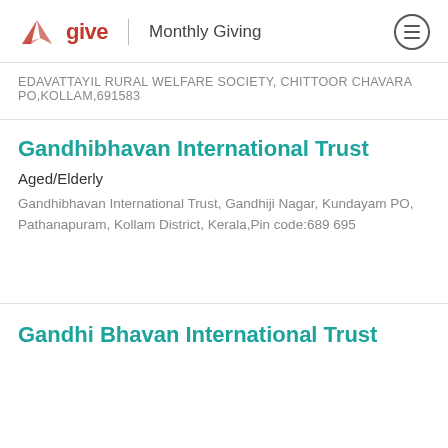give India | Monthly Giving
EDAVATTAYIL RURAL WELFARE SOCIETY, CHITTOOR CHAVARA PO,KOLLAM,691583
Gandhibhavan International Trust
Aged/Elderly
Gandhibhavan International Trust, Gandhiji Nagar, Kundayam PO, Pathanapuram, Kollam District, Kerala,Pin code:689 695
Gandhi Bhavan International Trust